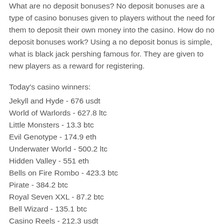What are no deposit bonuses? No deposit bonuses are a type of casino bonuses given to players without the need for them to deposit their own money into the casino. How do no deposit bonuses work? Using a no deposit bonus is simple, what is black jack pershing famous for. They are given to new players as a reward for registering.
Today's casino winners:
Jekyll and Hyde - 676 usdt
World of Warlords - 627.8 ltc
Little Monsters - 13.3 btc
Evil Genotype - 174.9 eth
Underwater World - 500.2 ltc
Hidden Valley - 551 eth
Bells on Fire Rombo - 423.3 btc
Pirate - 384.2 btc
Royal Seven XXL - 87.2 btc
Bell Wizard - 135.1 btc
Casino Reels - 212.3 usdt